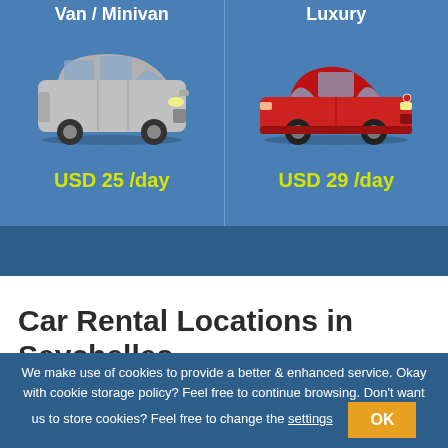Van / Minivan
[Figure (photo): Silver minivan / van car image]
USD 25 /day
Luxury
[Figure (photo): Red luxury sedan car image]
USD 29 /day
Car Rental Locations in Seychelles
We make use of cookies to provide a better & enhanced service. Okay with cookie storage policy? Feel free to continue browsing. Don't want us to store cookies? Feel free to change the settings OK